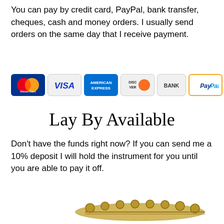You can pay by credit card, PayPal, bank transfer, cheques, cash and money orders. I usually send orders on the same day that I receive payment.
[Figure (infographic): Row of payment method icons: MasterCard, VISA, American Express, Discover, BANK, PayPal]
Lay By Available
Don't have the funds right now? If you can send me a 10% deposit I will hold the instrument for you until you are able to pay it off.
[Figure (photo): Partial image of a gold-colored musical instrument (saxophone or similar) at the bottom of the page]